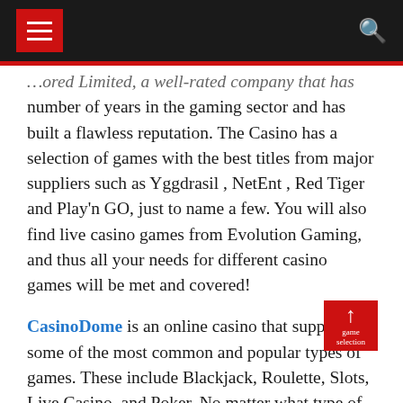Navigation header with menu button and search icon
…ored Limited, a well-rated company that has number of years in the gaming sector and has built a flawless reputation. The Casino has a selection of games with the best titles from major suppliers such as Yggdrasil , NetEnt , Red Tiger and Play'n GO, just to name a few. You will also find live casino games from Evolution Gaming, and thus all your needs for different casino games will be met and covered!
CasinoDome is an online casino that supports some of the most common and popular types of games. These include Blackjack, Roulette, Slots, Live Casino, and Poker. No matter what type of game looks the most attractive, there is a huge selection of games. Each of the different types of games also supports a large selection of games under each of the